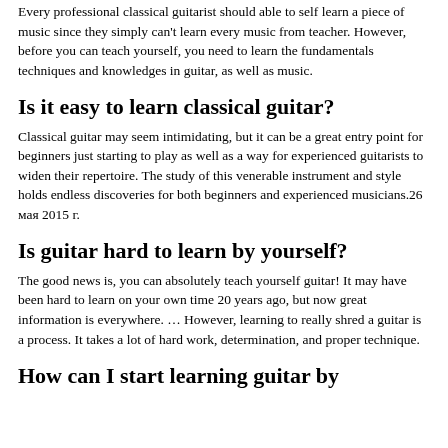Every professional classical guitarist should able to self learn a piece of music since they simply can't learn every music from teacher. However, before you can teach yourself, you need to learn the fundamentals techniques and knowledges in guitar, as well as music.
Is it easy to learn classical guitar?
Classical guitar may seem intimidating, but it can be a great entry point for beginners just starting to play as well as a way for experienced guitarists to widen their repertoire. The study of this venerable instrument and style holds endless discoveries for both beginners and experienced musicians.26 мая 2015 г.
Is guitar hard to learn by yourself?
The good news is, you can absolutely teach yourself guitar! It may have been hard to learn on your own time 20 years ago, but now great information is everywhere. … However, learning to really shred a guitar is a process. It takes a lot of hard work, determination, and proper technique.
How can I start learning guitar by